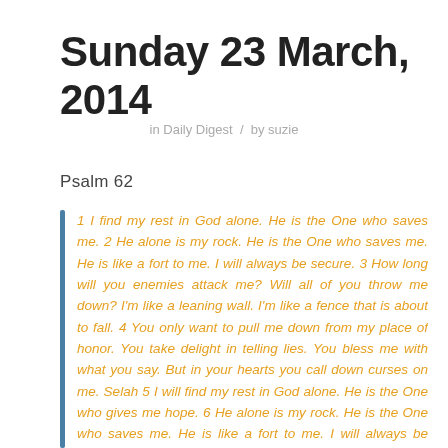Sunday 23 March, 2014
in Daily Digest  /  by suzie
Psalm 62
1 I find my rest in God alone. He is the One who saves me. 2 He alone is my rock. He is the One who saves me. He is like a fort to me. I will always be secure. 3 How long will you enemies attack me? Will all of you throw me down? I'm like a leaning wall. I'm like a fence that is about to fall. 4 You only want to pull me down from my place of honor. You take delight in telling lies. You bless me with what you say. But in your hearts you call down curses on me. Selah 5 I will find my rest in God alone. He is the One who gives me hope. 6 He alone is my rock. He is the One who saves me. He is like a fort to me. I will always be secure. 7 I depend on God to save me and to honor me. He is my mighty rock. He is my place of safety. 8 Trust in him at all times, you people. Tell him all of your troubles. God is our place of safety.